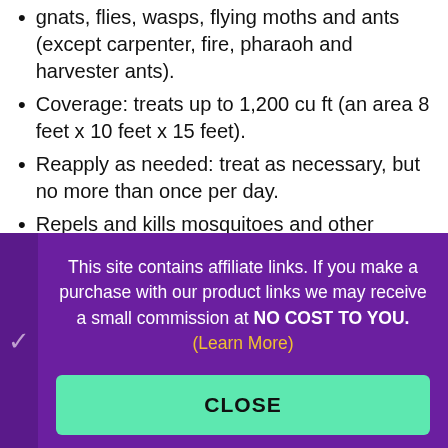gnats, flies, wasps, flying moths and ants (except carpenter, fire, pharaoh and harvester ants).
Coverage: treats up to 1,200 cu ft (an area 8 feet x 10 feet x 15 feet).
Reapply as needed: treat as necessary, but no more than once per day.
Repels and kills mosquitoes and other annoying insects
Perfect for backyards, decks, patios and picnic
This site contains affiliate links. If you make a purchase with our product links we may receive a small commission at NO COST TO YOU. (Learn More)
CLOSE